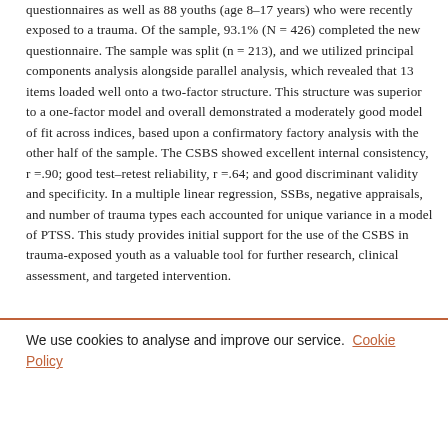questionnaires as well as 88 youths (age 8–17 years) who were recently exposed to a trauma. Of the sample, 93.1% (N = 426) completed the new questionnaire. The sample was split (n = 213), and we utilized principal components analysis alongside parallel analysis, which revealed that 13 items loaded well onto a two-factor structure. This structure was superior to a one-factor model and overall demonstrated a moderately good model of fit across indices, based upon a confirmatory factory analysis with the other half of the sample. The CSBS showed excellent internal consistency, r =.90; good test–retest reliability, r =.64; and good discriminant validity and specificity. In a multiple linear regression, SSBs, negative appraisals, and number of trauma types each accounted for unique variance in a model of PTSS. This study provides initial support for the use of the CSBS in trauma-exposed youth as a valuable tool for further research, clinical assessment, and targeted intervention.
We use cookies to analyse and improve our service. Cookie Policy